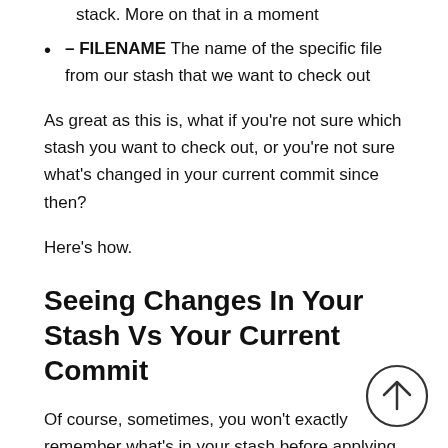stack. More on that in a moment
– FILENAME The name of the specific file from our stash that we want to check out
As great as this is, what if you're not sure which stash you want to check out, or you're not sure what's changed in your current commit since then?
Here's how.
Seeing Changes In Your Stash Vs Your Current Commit
Of course, sometimes, you won't exactly remember what's in your stash before applying it, which can make applying those changes slightly risky.